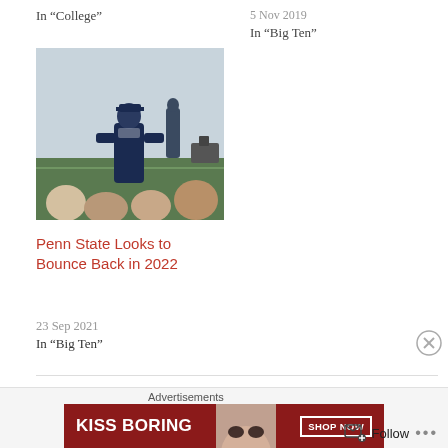In “College”
5 Nov 2019
In “Big Ten”
[Figure (photo): Photo of a Penn State football coach on the field with players]
Penn State Looks to Bounce Back in 2022
23 Sep 2021
In “Big Ten”
CATEGORIES  BIG TEN,  COLLEGE,  NCAA
TAGS  BIG TEN,  COLLEGE,  MICHIGAN,  NCAA,  PENN STATE
Advertisements
KISS BORING  SHOP NOW